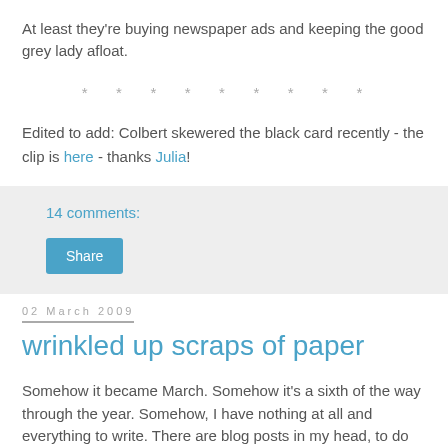At least they're buying newspaper ads and keeping the good grey lady afloat.
* * * * * * * * *
Edited to add: Colbert skewered the black card recently - the clip is here - thanks Julia!
14 comments:
Share
02 March 2009
wrinkled up scraps of paper
Somehow it became March. Somehow it's a sixth of the way through the year. Somehow, I have nothing at all and everything to write. There are blog posts in my head, to do lists everywhere, piles of paper crying out for attention. I